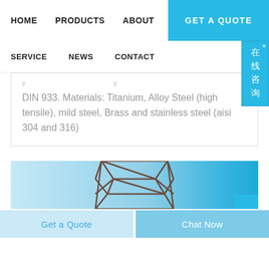HOME   PRODUCTS   ABOUT   GET A QUOTE
SERVICE   NEWS   CONTACT
DIN 933. Materials: Titanium, Alloy Steel (high tensile), mild steel, Brass and stainless steel (aisi 304 and 316)
[Figure (photo): Photo of a metal lattice/truss structure (tower frame) on a light blue background, partially visible at the bottom of the page.]
Get a Quote   Chat Now